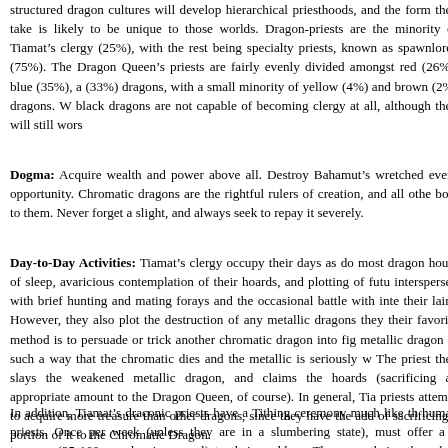structured dragon cultures will develop hierarchical priesthoods, and the form they take is likely to be unique to those worlds. Dragon-priests are the minority of Tiamat's clergy (25%), with the rest being specialty priests, known as spawnlords (75%). The Dragon Queen's priests are fairly evenly divided amongst red (26%), blue (35%), and green (33%) dragons, with a small minority of yellow (4%) and brown (2%) dragons. White and black dragons are not capable of becoming clergy at all, although they will still wors...
Dogma: Acquire wealth and power above all. Destroy Bahamut's wretched servants at every opportunity. Chromatic dragons are the rightful rulers of creation, and all others must bow to them. Never forget a slight, and always seek to repay it severely.
Day-to-Day Activities: Tiamat's clergy occupy their days as do most dragons: long hours of sleep, avaricious contemplation of their hoards, and plotting of future schemes, interspersed with brief hunting and mating forays and the occasional battle with interlopers in their lairs. However, they also plot the destruction of any metallic dragons they encounter; their favorite method is to persuade or trick another chromatic dragon into fighting a metallic dragon in such a way that the chromatic dies and the metallic is seriously wounded. The priest then slays the weakened metallic dragon, and claims the hoards of both (sacrificing an appropriate amount to the Dragon Queen, of course). In general, Tiamat's priests attempt to acquire more treasure than other dragons, since they have the added duty of sacrificing a portion of it to the Chromatic Dragon.
In addition, Tiamat's draconic priests have a Tithing ceremony much like that of human priests. Once per week (unless they are in a slumbering state), must offer a coin of treasure (25-100gp value is normal) to their goddess. They cup their other claw around the treasure and offer a small prayer; upon completing the prayer and opening their claw, there is a 10% chance the offering has vanished. On days this happens, the priests feel particularly blessed in their current plans or actions.